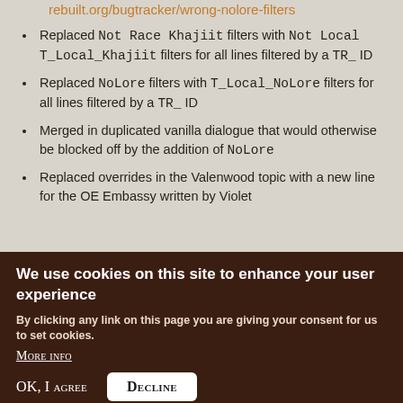rebuilt.org/bugtracker/wrong-nolore-filters
Replaced Not Race Khajiit filters with Not Local T_Local_Khajiit filters for all lines filtered by a TR_ ID
Replaced NoLore filters with T_Local_NoLore filters for all lines filtered by a TR_ ID
Merged in duplicated vanilla dialogue that would otherwise be blocked off by the addition of NoLore
Replaced overrides in the Valenwood topic with a new line for the OE Embassy written by Violet
We use cookies on this site to enhance your user experience
By clicking any link on this page you are giving your consent for us to set cookies.
More info
OK, I agree  Decline